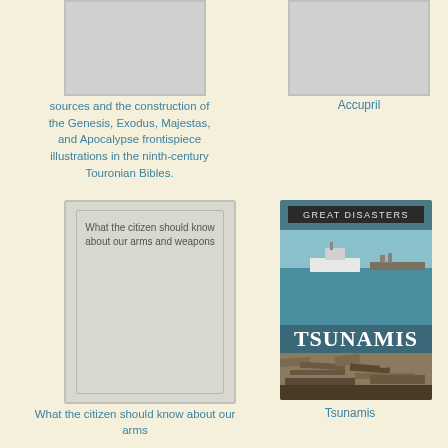[Figure (illustration): Book cover placeholder (gray rectangle), top left]
[Figure (illustration): Book cover placeholder (gray rectangle), top right]
sources and the construction of the Genesis, Exodus, Majestas, and Apocalypse frontispiece illustrations in the ninth-century Touronian Bibles.
Accupril
[Figure (illustration): Book cover placeholder (gray card with inner border and text: What the citizen should know about our arms and weapons), bottom left]
[Figure (photo): Tsunamis book cover - Great Disasters series, showing harbor with ship and tsunami debris in foreground]
What the citizen should know about our arms
Tsunamis